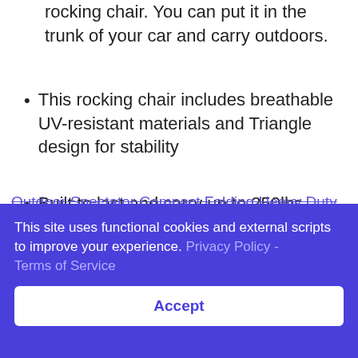rocking chair. You can put it in the trunk of your car and carry outdoors.
This rocking chair includes breathable UV-resistant materials and Triangle design for stability
Built to last and carry up to 250lbs.
Outdoor Spectator Compact Folding Heavy Duty
This site uses functional cookies and external scripts to improve your experience. Privacy Policy - Terms of Service
Accept